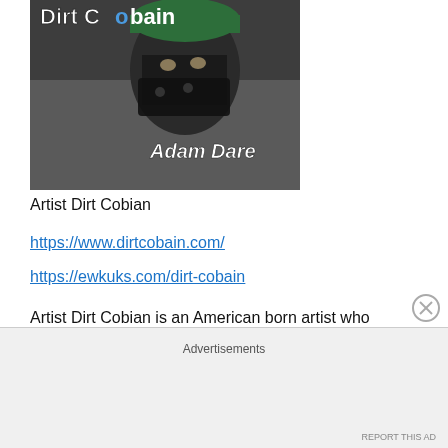[Figure (photo): Photo of artist Dirt Cobian wearing a bandana mask and green cap, with 'Dirt Cobain' and 'Adam Dare' text overlaid on the image]
Artist Dirt Cobian
https://www.dirtcobain.com/
https://ewkuks.com/dirt-cobain
Artist Dirt Cobian is an American born artist who started started with a spray can when he was a teenager. He creates the most interesting and eye opening street art. He currently lives in Brooklyn (Artist bio).
Advertisements